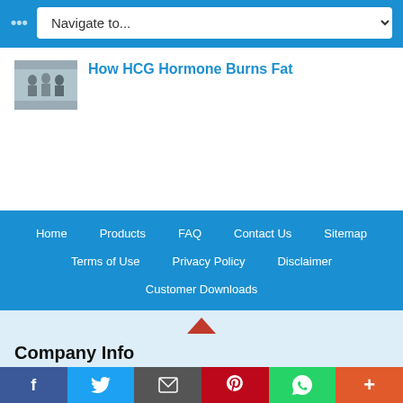Navigate to...
How HCG Hormone Burns Fat
Home  Products  FAQ  Contact Us  Sitemap  Terms of Use  Privacy Policy  Disclaimer  Customer Downloads
Company Info
Best Buy HCG
7241 Southwest 63rd Avenue